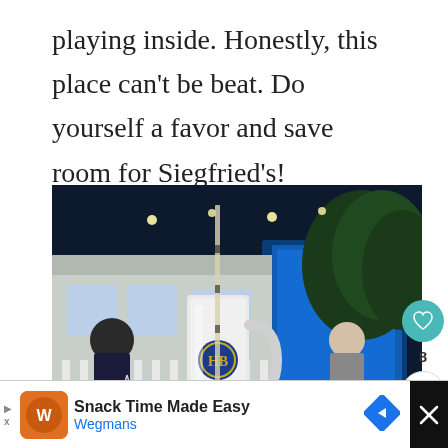playing inside. Honestly, this place can't be beat. Do yourself a favor and save room for Siegfried's!
[Figure (photo): Outdoor patio of Siegfried's restaurant at night, showing a large HB (Hofbräu) beer stein in the foreground on a gingham tablecloth, with diners seated at wooden tables, white picket fence, a building lit with blue lights, and trees in the background.]
WHAT'S NEXT → 2 Days in Fort Myers:...
Snack Time Made Easy Wegmans